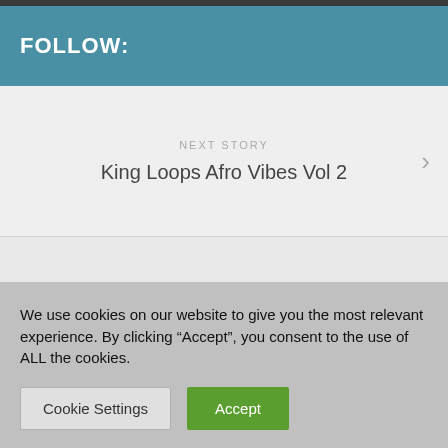FOLLOW:
NEXT STORY
King Loops Afro Vibes Vol 2
PREVIOUS STORY
Sonic Academy Tech Tips Vol.29 Christian Vance
We use cookies on our website to give you the most relevant experience. By clicking “Accept”, you consent to the use of ALL the cookies.